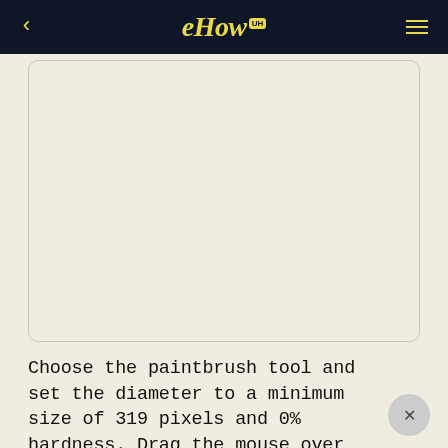eHow UH
[Figure (illustration): Blank cream-colored canvas placeholder inside a rounded rectangle border]
Choose the paintbrush tool and set the diameter to a minimum size of 319 pixels and 0% hardness. Drag the mouse over your canvas where you would like to apply paint.